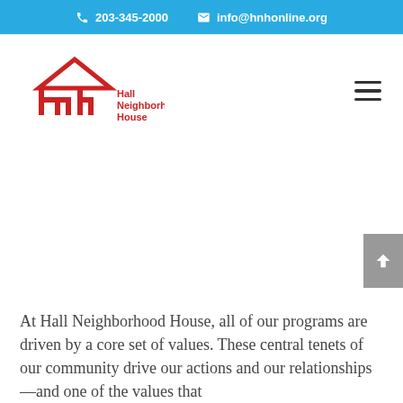203-345-2000  info@hnhonline.org
[Figure (logo): Hall Neighborhood House logo with stylized hnh letters and house roof graphic in red, with text 'Hall Neighborhood House' in red]
At Hall Neighborhood House, all of our programs are driven by a core set of values. These central tenets of our community drive our actions and our relationships—and one of the values that